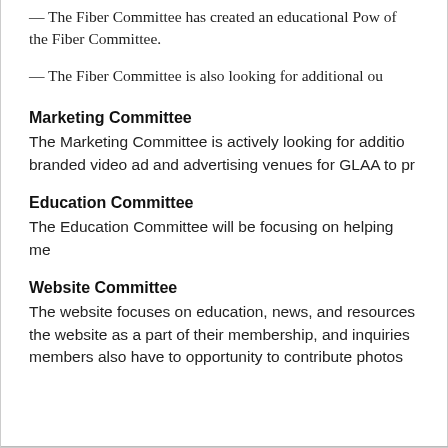— The Fiber Committee has created an educational Pow of the Fiber Committee.
— The Fiber Committee is also looking for additional ou
Marketing Committee
The Marketing Committee is actively looking for additio branded video ad and advertising venues for GLAA to pr
Education Committee
The Education Committee will be focusing on helping me
Website Committee
The website focuses on education, news, and resources the website as a part of their membership, and inquiries members also have to opportunity to contribute photos